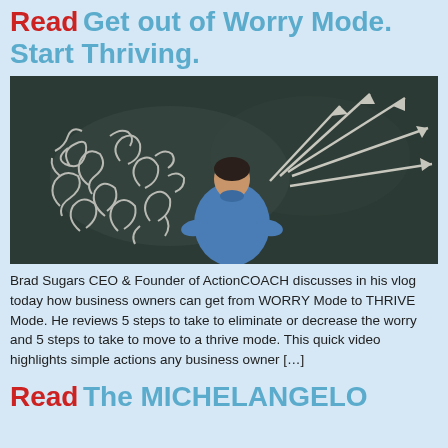Read Get out of Worry Mode. Start Thriving.
[Figure (photo): Person standing in front of a dark chalkboard with white chalk drawings of chaotic squiggles on the left and multiple arrows pointing upward/outward to the right, representing moving from worry to thriving.]
Brad Sugars CEO & Founder of ActionCOACH discusses in his vlog today how business owners can get from WORRY Mode to THRIVE Mode. He reviews 5 steps to take to eliminate or decrease the worry and 5 steps to take to move to a thrive mode. This quick video highlights simple actions any business owner […]
Read The MICHELANGELO